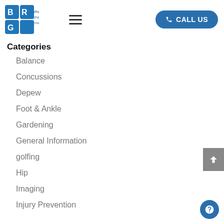[Figure (logo): Buffalo Rehab Group logo with blue cross/grid icon and text]
Categories
Balance
Concussions
Depew
Foot & Ankle
Gardening
General Information
golfing
Hip
Imaging
Injury Prevention